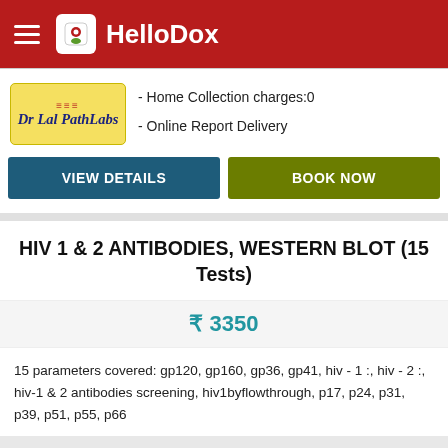HelloDox
- Home Collection charges:0
- Online Report Delivery
VIEW DETAILS  BOOK NOW
HIV 1 & 2 ANTIBODIES, WESTERN BLOT (15 Tests)
₹ 3350
15 parameters covered: gp120, gp160, gp36, gp41, hiv - 1 :, hiv - 2 :, hiv-1 & 2 antibodies screening, hiv1byflowthrough, p17, p24, p31, p39, p51, p55, p66